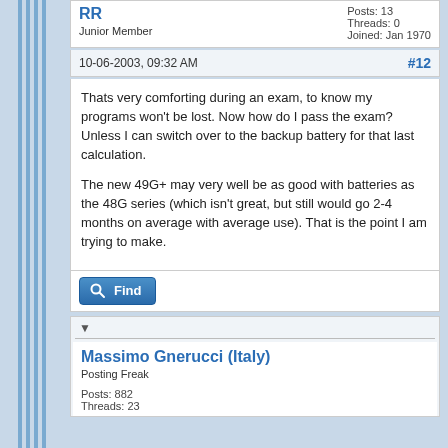RR
Junior Member
Posts: 13
Threads: 0
Joined: Jan 1970
10-06-2003, 09:32 AM
#12
Thats very comforting during an exam, to know my programs won't be lost. Now how do I pass the exam? Unless I can switch over to the backup battery for that last calculation.

The new 49G+ may very well be as good with batteries as the 48G series (which isn't great, but still would go 2-4 months on average with average use). That is the point I am trying to make.
Find
Massimo Gnerucci (Italy)
Posting Freak
Posts: 882
Threads: 23